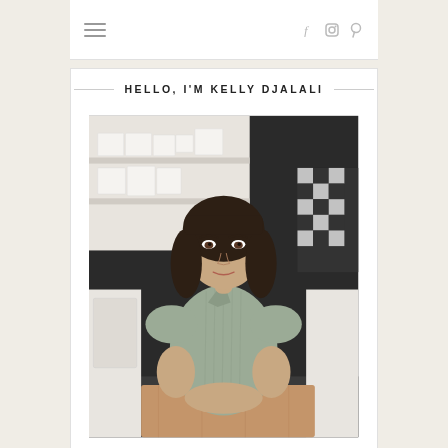Navigation bar with hamburger menu and social icons (f, instagram, pinterest)
HELLO, I'M KELLY DJALALI
[Figure (photo): Portrait photo of Kelly Djalali, a woman with dark shoulder-length hair and bangs, wearing a light green/sage short-sleeve button-up top, sitting at a wooden table in a kitchen with white open shelving displaying dishes in the background and a black and white checked curtain visible on the right.]